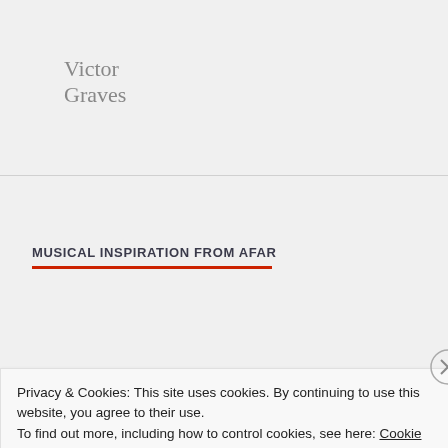Victor Graves
MUSICAL INSPIRATION FROM AFAR
Billy Bragg
David Francey
Privacy & Cookies: This site uses cookies. By continuing to use this website, you agree to their use.
To find out more, including how to control cookies, see here: Cookie Policy
Close and accept